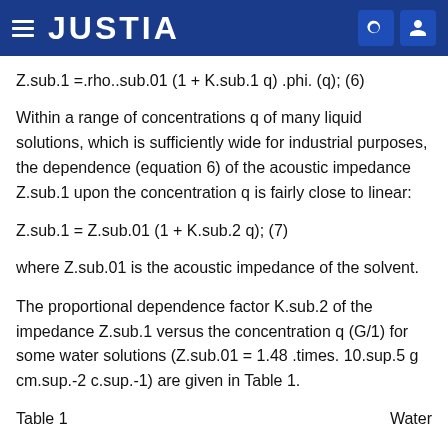JUSTIA
Within a range of concentrations q of many liquid solutions, which is sufficiently wide for industrial purposes, the dependence (equation 6) of the acoustic impedance Z.sub.1 upon the concentration q is fairly close to linear:
where Z.sub.01 is the acoustic impedance of the solvent.
The proportional dependence factor K.sub.2 of the impedance Z.sub.1 versus the concentration q (G/1) for some water solutions (Z.sub.01 = 1.48 .times. 10.sup.5 g cm.sup.-2 c.sup.-1) are given in Table 1.
Table 1   Water